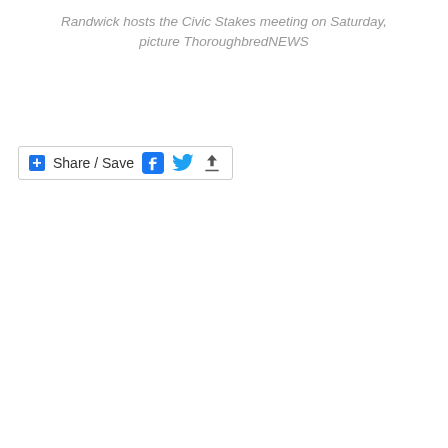Randwick hosts the Civic Stakes meeting on Saturday, picture ThoroughbredNEWS
[Figure (other): Share/Save social media button bar with Facebook, Twitter, and share icons]